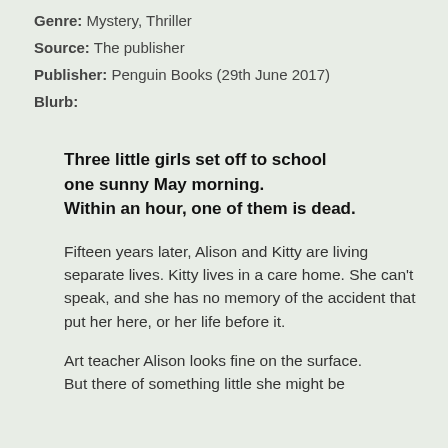Genre: Mystery, Thriller
Source: The publisher
Publisher: Penguin Books (29th June 2017)
Blurb:
Three little girls set off to school one sunny May morning. Within an hour, one of them is dead.
Fifteen years later, Alison and Kitty are living separate lives. Kitty lives in a care home. She can't speak, and she has no memory of the accident that put her here, or her life before it.
Art teacher Alison looks fine on the surface. But there of something little she might be